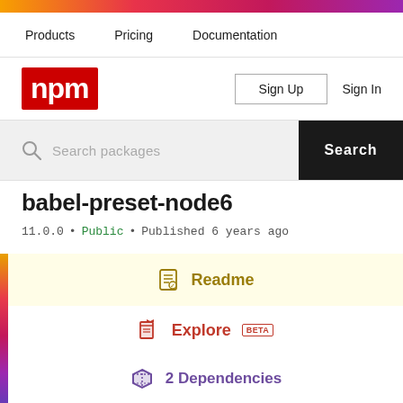Products  Pricing  Documentation
[Figure (logo): npm logo - red box with white npm text]
Sign Up  Sign In
Search packages  Search
babel-preset-node6
11.0.0 • Public • Published 6 years ago
Readme
Explore BETA
2 Dependencies